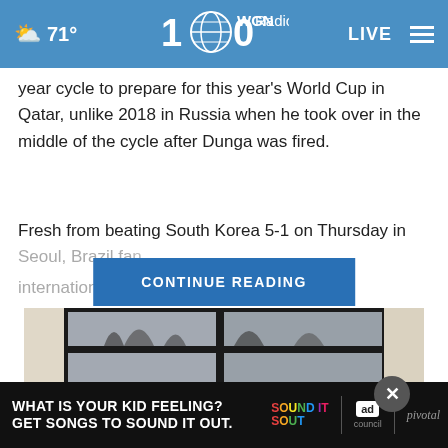71° WGN Radio LIVE
year cycle to prepare for this year's World Cup in Qatar, unlike 2018 in Russia when he took over in the middle of the cycle after Dunga was fired.
Fresh from beating South Korea 5-1 on Thursday in Seoul, Brazil fa… an international f… not lost
CONTINUE READING
[Figure (photo): Window with dark metal frames showing trees in background, partially obscured by a close-up button]
[Figure (other): Advertisement banner: WHAT IS YOUR KID FEELING? GET SONGS TO SOUND IT OUT. Sound It Out ad council pivotal]